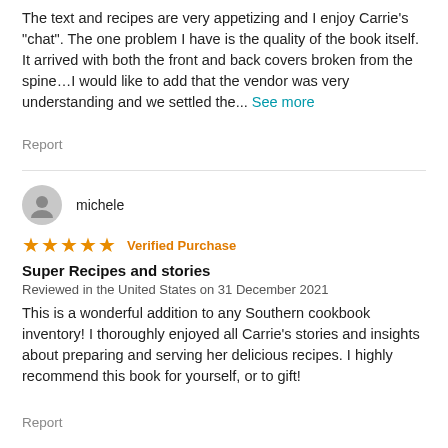The text and recipes are very appetizing and I enjoy Carrie’s “chat”. The one problem I have is the quality of the book itself. It arrived with both the front and back covers broken from the spine…I would like to add that the vendor was very understanding and we settled the... See more
Report
michele
★★★★★ Verified Purchase
Super Recipes and stories
Reviewed in the United States on 31 December 2021
This is a wonderful addition to any Southern cookbook inventory! I thoroughly enjoyed all Carrie’s stories and insights about preparing and serving her delicious recipes. I highly recommend this book for yourself, or to gift!
Report